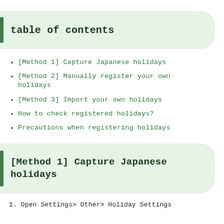table of contents
[Method 1] Capture Japanese holidays
[Method 2] Manually register your own holidays
[Method 3] Import your own holidays
How to check registered holidays?
Precautions when registering holidays
[Method 1] Capture Japanese holidays
1. Open Settings> Other> Holiday Settings